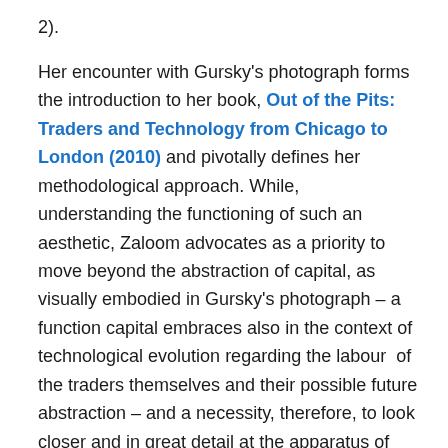2).
Her encounter with Gursky's photograph forms the introduction to her book, Out of the Pits: Traders and Technology from Chicago to London (2010) and pivotally defines her methodological approach. While, understanding the functioning of such an aesthetic, Zaloom advocates as a priority to move beyond the abstraction of capital, as visually embodied in Gursky's photograph – a function capital embraces also in the context of technological evolution regarding the labour  of the traders themselves and their possible future abstraction – and a necessity, therefore, to look closer and in great detail at the apparatus of the global market:
Markets are objects of inquiry into the culture and economy of contemporary capitalism…today, the world's